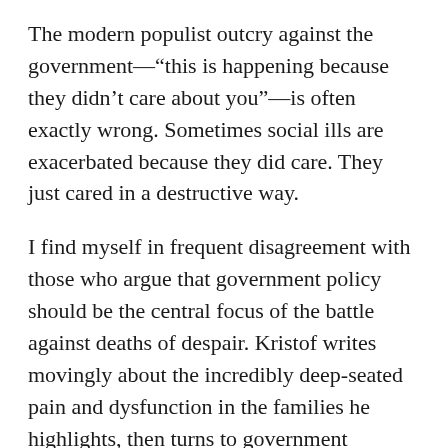The modern populist outcry against the government—"this is happening because they didn't care about you"—is often exactly wrong. Sometimes social ills are exacerbated because they did care. They just cared in a destructive way.
I find myself in frequent disagreement with those who argue that government policy should be the central focus of the battle against deaths of despair. Kristof writes movingly about the incredibly deep-seated pain and dysfunction in the families he highlights, then turns to government solutions like government-provided preschool, job retraining, and large-scale drug treatment programs.
Yet the evidence for the benefits of programs like Head Start is mixed, we've tried worker retraining programs